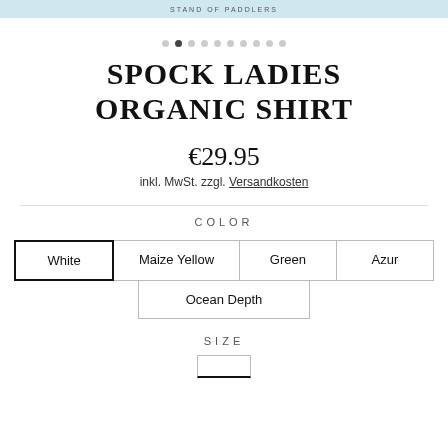STAND OF PADDLERS
[Figure (other): Dot pagination indicators, 10 dots total, second dot is filled/active]
SPOCK LADIES ORGANIC SHIRT
€29.95
inkl. MwSt. zzgl. Versandkosten
COLOR
White | Maize Yellow | Green | Azur | Ocean Depth
SIZE